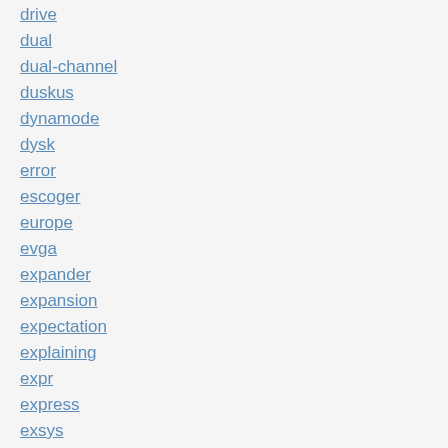drive
dual
dual-channel
duskus
dynamode
dysk
error
escoger
europe
evga
expander
expansion
expectation
explaining
expr
express
exsys
extension
external